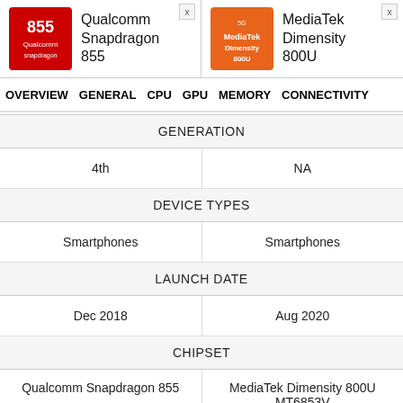Qualcomm Snapdragon 855 vs MediaTek Dimensity 800U
OVERVIEW  GENERAL  CPU  GPU  MEMORY  CONNECTIVITY
| Qualcomm Snapdragon 855 | MediaTek Dimensity 800U |
| --- | --- |
| GENERATION | GENERATION |
| 4th | NA |
| DEVICE TYPES | DEVICE TYPES |
| Smartphones | Smartphones |
| LAUNCH DATE | LAUNCH DATE |
| Dec 2018 | Aug 2020 |
| CHIPSET | CHIPSET |
| Qualcomm Snapdragon 855 | MediaTek Dimensity 800U MT6853V |
| CENTRAL PROCESSOR (CPU) | Hide |
| ARCHITECTURE | ARCHITECTURE |